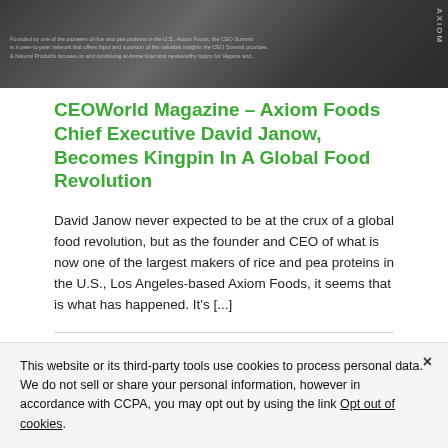[Figure (photo): Photo of people at Axiom Foods/CEO Summit event, with overlay text about Axiom Foods and AXIOM vertical text watermark on right side]
CEOWorld Magazine – Axiom Foods Chief Executive David Janow, Becomes Kingpin In A Global Food Revolution
David Janow never expected to be at the crux of a global food revolution, but as the founder and CEO of what is now one of the largest makers of rice and pea proteins in the U.S., Los Angeles-based Axiom Foods, it seems that is what has happened. It's [...]
July 18th, 2018 | Axiom in the news, Axiom News, Favorite Axiom in the News
Read More >
This website or its third-party tools use cookies to process personal data.
We do not sell or share your personal information, however in accordance with CCPA, you may opt out by using the link Opt out of cookies.